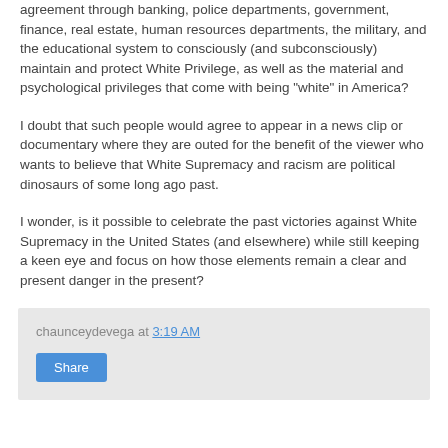agreement through banking, police departments, government, finance, real estate, human resources departments, the military, and the educational system to consciously (and subconsciously) maintain and protect White Privilege, as well as the material and psychological privileges that come with being "white" in America?
I doubt that such people would agree to appear in a news clip or documentary where they are outed for the benefit of the viewer who wants to believe that White Supremacy and racism are political dinosaurs of some long ago past.
I wonder, is it possible to celebrate the past victories against White Supremacy in the United States (and elsewhere) while still keeping a keen eye and focus on how those elements remain a clear and present danger in the present?
chaunceydevega at 3:19 AM
Share